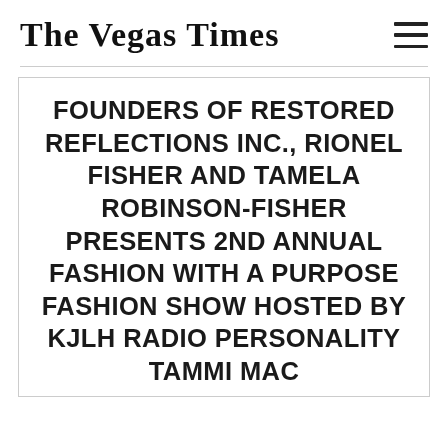The Vegas Times
FOUNDERS OF RESTORED REFLECTIONS INC., RIONEL FISHER AND TAMELA ROBINSON-FISHER PRESENTS 2ND ANNUAL FASHION WITH A PURPOSE FASHION SHOW HOSTED BY KJLH RADIO PERSONALITY TAMMI MAC